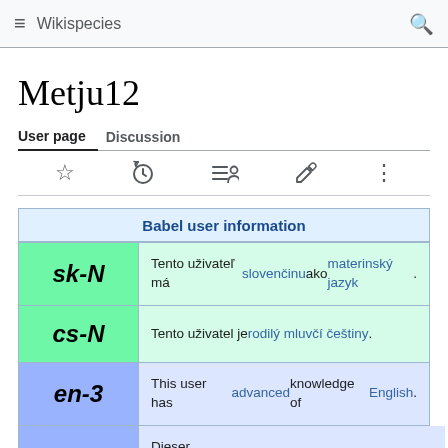Wikispecies
Metju12
User page | Discussion
| Babel user information |
| --- |
| sk-N | Tento uživateľ má slovenčinu ako materinský jazyk. |
| cs-N | Tento uživatel je rodilý mluvčí češtiny. |
| en-3 | This user has advanced knowledge of English. |
| de-2 | Dieser Benutzer beherrscht Deutsch auf fortgeschrittenem Niveau. |